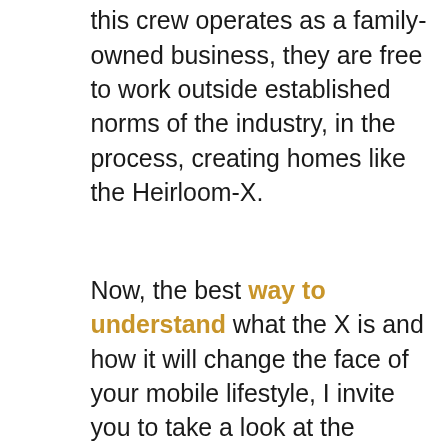this crew operates as a family-owned business, they are free to work outside established norms of the industry, in the process, creating homes like the Heirloom-X.
Now, the best way to understand what the X is and how it will change the face of your mobile lifestyle, I invite you to take a look at the gallery. Once you've done that, come back to the text to get to know the things you don't see.
So far, it would seem as though no one has purchased an Heirloom-X as all the manufacturer's website shows are these renderings and a